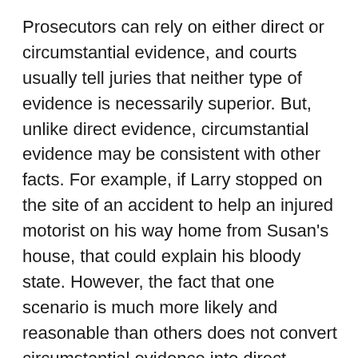Prosecutors can rely on either direct or circumstantial evidence, and courts usually tell juries that neither type of evidence is necessarily superior. But, unlike direct evidence, circumstantial evidence may be consistent with other facts. For example, if Larry stopped on the site of an accident to help an injured motorist on his way home from Susan's house, that could explain his bloody state. However, the fact that one scenario is much more likely and reasonable than others does not convert circumstantial evidence into direct evidence. Larry's appearance at home covered in blood may be strong circumstantial evidence that he killed Susan (and, without some other explanation, would almost certainly be sufficient to convict him), but it is not direct evidence.